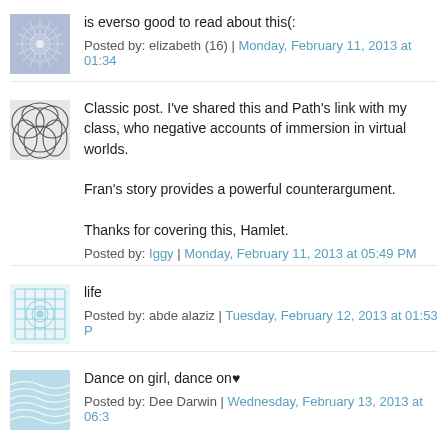[Figure (illustration): Square avatar with blue/purple geometric star pattern on light background]
is everso good to read about this(:
Posted by: elizabeth (16) | Monday, February 11, 2013 at 01:34
[Figure (illustration): Square avatar with dark grey overlapping circles/curves pattern on light background]
Classic post. I've shared this and Path's link with my class, who negative accounts of immersion in virtual worlds.

Fran's story provides a powerful counterargument.

Thanks for covering this, Hamlet.
Posted by: Iggy | Monday, February 11, 2013 at 05:49 PM
[Figure (illustration): Square avatar with light blue geometric network/mesh pattern on white background]
life
Posted by: abde alaziz | Tuesday, February 12, 2013 at 01:53 P
[Figure (illustration): Square avatar with teal/blue wave pattern on light background]
Dance on girl, dance on♥
Posted by: Dee Darwin | Wednesday, February 13, 2013 at 06:3